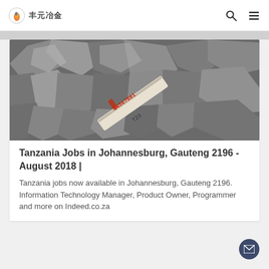丰元冶金
[Figure (photo): Close-up photo of metallic ore chunks/rocks with a measuring tape showing numbers 1-23]
Tanzania Jobs in Johannesburg, Gauteng 2196 - August 2018 |
Tanzania jobs now available in Johannesburg, Gauteng 2196. Information Technology Manager, Product Owner, Programmer and more on Indeed.co.za